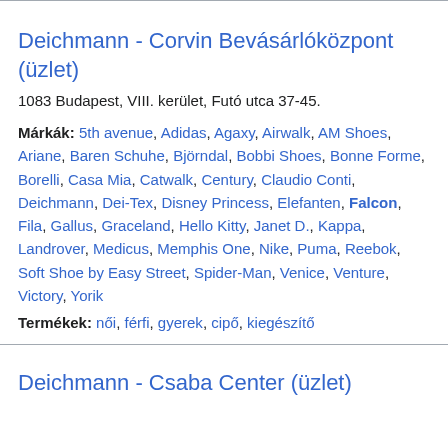Deichmann - Corvin Bevásárlóközpont (üzlet)
1083 Budapest, VIII. kerület, Futó utca 37-45.
Márkák: 5th avenue, Adidas, Agaxy, Airwalk, AM Shoes, Ariane, Baren Schuhe, Björndal, Bobbi Shoes, Bonne Forme, Borelli, Casa Mia, Catwalk, Century, Claudio Conti, Deichmann, Dei-Tex, Disney Princess, Elefanten, Falcon, Fila, Gallus, Graceland, Hello Kitty, Janet D., Kappa, Landrover, Medicus, Memphis One, Nike, Puma, Reebok, Soft Shoe by Easy Street, Spider-Man, Venice, Venture, Victory, Yorik
Termékek: női, férfi, gyerek, cipő, kiegészítő
Deichmann - Csaba Center (üzlet)